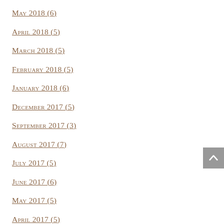May 2018 (6)
April 2018 (5)
March 2018 (5)
February 2018 (5)
January 2018 (6)
December 2017 (5)
September 2017 (3)
August 2017 (7)
July 2017 (5)
June 2017 (6)
May 2017 (5)
April 2017 (5)